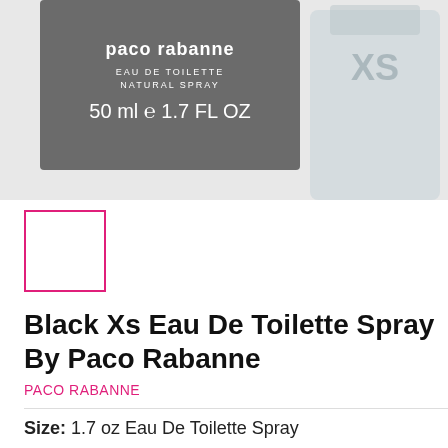[Figure (photo): Paco Rabanne Black XS Eau De Toilette product photo showing the gray box packaging with text 'paco rabanne EAU DE TOILETTE NATURAL SPRAY 50 ml 1.7 FL OZ' and a glass bottle partially visible on the right]
[Figure (other): Small white square thumbnail with pink/magenta border, representing a product image thumbnail selector]
Black Xs Eau De Toilette Spray By Paco Rabanne
PACO RABANNE
Size: 1.7 oz Eau De Toilette Spray
1.7 oz Eau De Toilette Spray